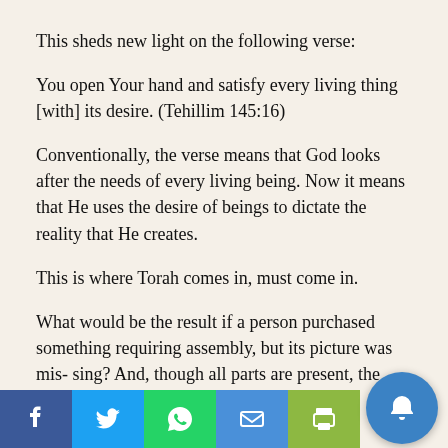This sheds new light on the following verse:
You open Your hand and satisfy every living thing [with] its desire. (Tehillim 145:16)
Conventionally, the verse means that God looks after the needs of every living being. Now it means that He uses the desire of beings to dictate the reality that He creates.
This is where Torah comes in, must come in.
What would be the result if a person purchased something requiring assembly, but its picture was mis- sing? And, though all parts are present, the assembly instructions were not. What would happen?
If the person actually carried through with the assembly, more than likely he would produce something different than what was intended by the manufacturer. Furthermore, pieces would be left over, calling into question the integrity of the finished product, to say nothing about the damage would